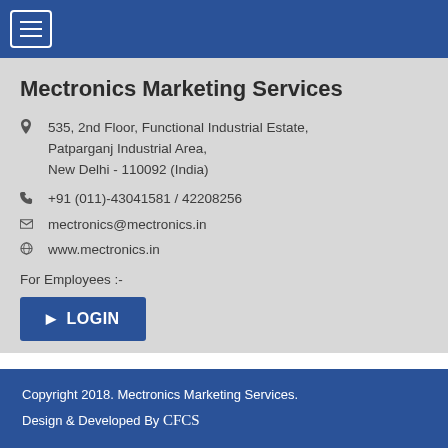☰ (menu button)
Mectronics Marketing Services
535, 2nd Floor, Functional Industrial Estate, Patparganj Industrial Area, New Delhi - 110092 (India)
+91 (011)-43041581 / 42208256
mectronics@mectronics.in
www.mectronics.in
For Employees :-
LOGIN
Copyright 2018. Mectronics Marketing Services.
Design & Developed By CFCS